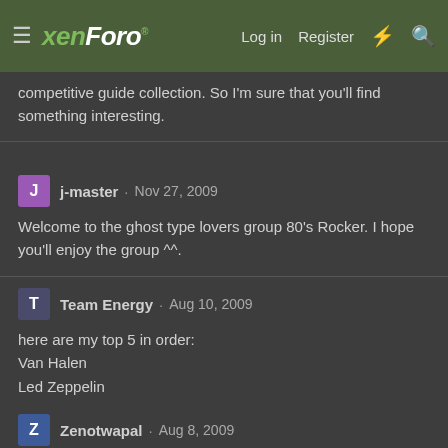xenForo · Log in · Register
competitive guide collection. So I'm sure that you'll find something interesting.
j-master · Nov 27, 2009
Welcome to the ghost type lovers group 80's Rocker. I hope you'll enjoy the group ^^.
Team Energy · Aug 10, 2009
here are my top 5 in order:
Van Halen
Led Zeppelin
Def Leppard
Motley Crue
Poison
Zenotwapal · Aug 8, 2009
So ya back, eh?